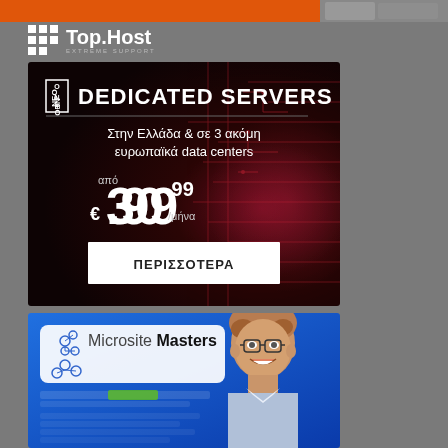[Figure (illustration): Top orange banner strip with food/product image on the right]
[Figure (logo): Top.Host logo with grid icon and 'EXTREME SUPPORT' tagline on dark background]
[Figure (infographic): Dedicated Servers advertisement: dark background with red circuit board imagery, badge reading NEO, title DEDICATED SERVERS, subtitle in Greek: Στην Ελλάδα & σε 3 ακόμη ευρωπαϊκά data centers, price από €30.99/μήνα, button ΠΕΡΙΣΣΟΤΕΡΑ]
[Figure (infographic): Microsite Masters advertisement: blue background with smiling man with glasses on right, Microsite Masters logo box on upper left, blurred content lines below]